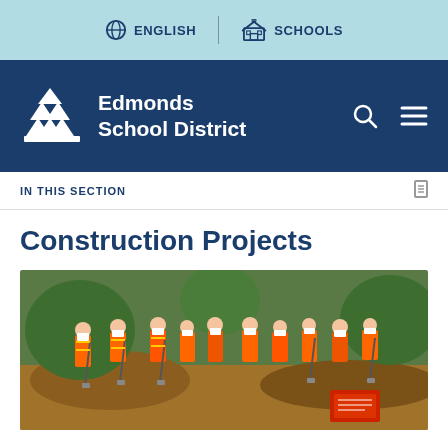ENGLISH | SCHOOLS
[Figure (logo): Edmonds School District logo — white tree/house icon with text 'Edmonds School District' on dark blue background bar]
IN THIS SECTION
Construction Projects
[Figure (photo): Children wearing orange safety vests and white hard hats holding shovels at a groundbreaking ceremony outdoors on a dirt construction site]